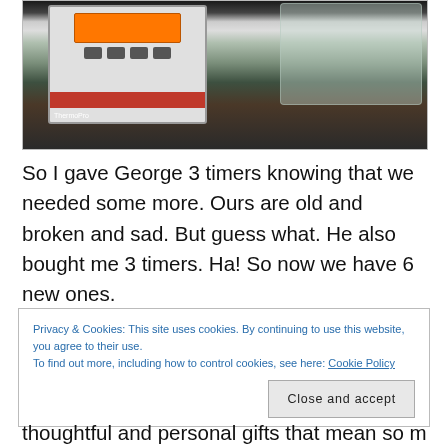[Figure (photo): Photo of a ThermoPro kitchen timer in packaging, sitting on a patterned fabric surface]
So I gave George 3 timers knowing that we needed some more. Ours are old and broken and sad. But guess what. He also bought me 3 timers. Ha! So now we have 6 new ones.
Privacy & Cookies: This site uses cookies. By continuing to use this website, you agree to their use.
To find out more, including how to control cookies, see here: Cookie Policy
Close and accept
thoughtful and personal gifts that mean so much